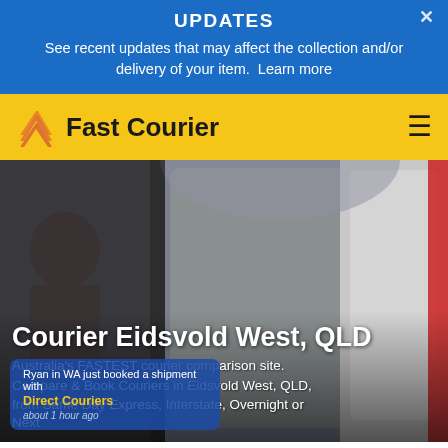UPDATES
See recent updates that may affect the collection and/or delivery of your item. Learn more
[Figure (logo): Fast Courier brand logo with orange stacked arrow icon and bold text 'Fast Courier' on yellow navigation bar]
[Figure (screenshot): Hero background showing a delivery person near a vehicle door, dark overlay with white text: 'Courier Eidsvold West, QLD', 'Australia's FASTEST courier comparison site.', 'Compare & Book Couriers in Eidsvold West, QLD, from Same Day Express, Interstate, Overnight or Next...' with a blue notification popup: 'Ryan in WA just booked a shipment with Direct Couriers about 1 hour ago']